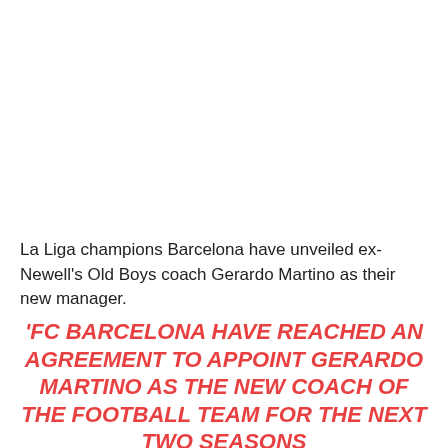La Liga champions Barcelona have unveiled ex-Newell's Old Boys coach Gerardo Martino as their new manager.
'FC BARCELONA HAVE REACHED AN AGREEMENT TO APPOINT GERARDO MARTINO AS THE NEW COACH OF THE FOOTBALL TEAM FOR THE NEXT TWO SEASONS